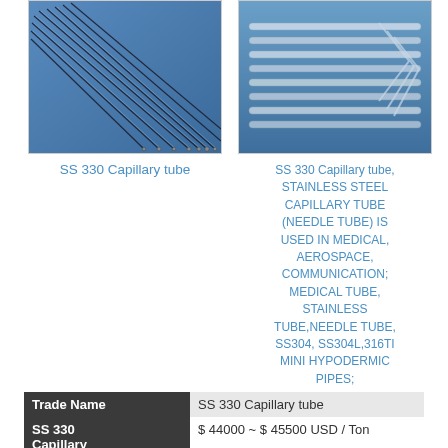[Figure (photo): Photo of SS 330 Capillary tubes bundled together on a blue background]
SS 330 Capillary tube
[Figure (photo): Photo of SS 330 Capillary tubes laid flat on a blue background]
SS 330 Capillary tube, STAINLESS STEEL CAPILLARY TUBE (NEEDLE TUBE) IS USED IN MEDICAL, AEROSPACE, COMMUNICATION; MEDICAL TUBE, STAINLESS TUBE,NEEDLE TUBE, SS304, SS304L,316TI MINI HYPODERMIC PIPES;
| Trade Name | SS 330 Capillary tube |
| SS 330 Capillary tube FOB PRICE | $ 44000 ~ $ 45500 USD / Ton |
| SS 330 | 1/2 inch NB to 48 inch NB |